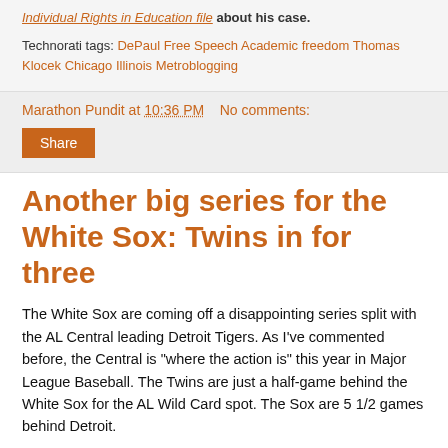Individual Rights in Education file about his case.
Technorati tags: DePaul Free Speech Academic freedom Thomas Klocek Chicago Illinois Metroblogging
Marathon Pundit at 10:36 PM   No comments:
Share
Another big series for the White Sox: Twins in for three
The White Sox are coming off a disappointing series split with the AL Central leading Detroit Tigers. As I've commented before, the Central is "where the action is" this year in Major League Baseball. The Twins are just a half-game behind the White Sox for the AL Wild Card spot. The Sox are 5 1/2 games behind Detroit.
The weekend the White Sox host the Twins for a three game series. The South Side was off to a nice start at the d...